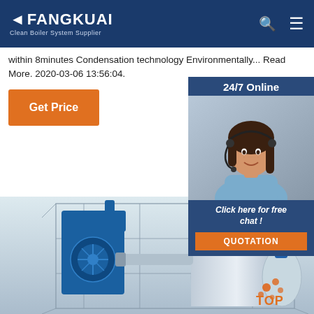FANGKUAI Clean Boiler System Supplier
within 8minutes Condensation technology Environmentally... Read More. 2020-03-06 13:56:04.
[Figure (screenshot): Orange 'Get Price' button]
[Figure (photo): 24/7 Online customer service panel with photo of woman wearing headset, 'Click here for free chat!' text, and orange QUOTATION button]
[Figure (engineering-diagram): 3D cutaway engineering diagram of an industrial boiler system in blue and silver, shown inside a wireframe cage structure]